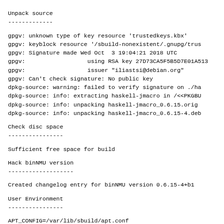Unpack source
-------------
gpgv: unknown type of key resource 'trustedkeys.kbx'
gpgv: keyblock resource '/sbuild-nonexistent/.gnupg/trus
gpgv: Signature made Wed Oct  3 19:04:21 2018 UTC
gpgv:                  using RSA key 27D73CA5F5B5D7E01A513
gpgv:                  issuer "iliastsi@debian.org"
gpgv: Can't check signature: No public key
dpkg-source: warning: failed to verify signature on ./ha
dpkg-source: info: extracting haskell-jmacro in /<<PKGBU
dpkg-source: info: unpacking haskell-jmacro_0.6.15.orig
dpkg-source: info: unpacking haskell-jmacro_0.6.15-4.deb
Check disc space
----------------
Sufficient free space for build
Hack binNMU version
-------------------
Created changelog entry for binNMU version 0.6.15-4+b1
User Environment
----------------
APT_CONFIG=/var/lib/sbuild/apt.conf
DEB_BUILD_OPTIONS=parallel=4